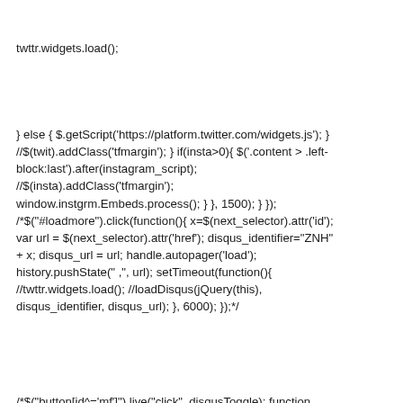twttr.widgets.load();
} else { $.getScript('https://platform.twitter.com/widgets.js'); } //$(twit).addClass('tfmargin'); } if(insta>0){ $('.content > .left-block:last').after(instagram_script); //$(insta).addClass('tfmargin'); window.instgrm.Embeds.process(); } }, 1500); } }); /*$("#loadmore").click(function(){ x=$(next_selector).attr('id'); var url = $(next_selector).attr('href'); disqus_identifier="ZNH" + x; disqus_url = url; handle.autopager('load'); history.pushState(" ,", url); setTimeout(function(){ //twttr.widgets.load(); //loadDisqus(jQuery(this), disqus_identifier, disqus_url); }, 6000); });*/
/*$("button[id^='mf']").live("click", disqusToggle); function disqusToggle() { console.log("Main id: " + $(this).attr('id')); }*/ $(document).delegate("button[id^='mf']", "click", function(){ fbcontainer=""; fbid = '#' + $(this).attr('id'); var sr = fbid.replace("#mf", ".sr");
//console.log("Main id: " + $(this).attr('id') + "Goodbye!jQuery 1.4.3+" + sr); $(fbid).parent().children(sr).toggle(); fbcontainer